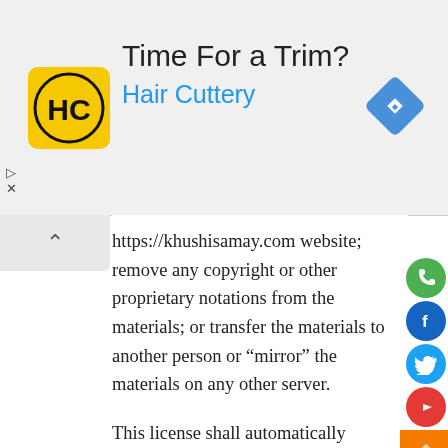[Figure (infographic): Advertisement banner for Hair Cuttery with logo (HC initials in yellow circle), text 'Time For a Trim?' and 'Hair Cuttery' in blue, and a blue diamond navigation icon on the right.]
https://khushisamay.com website; remove any copyright or other proprietary notations from the materials; or transfer the materials to another person or “mirror” the materials on any other server.
This license shall automatically terminate if you violate any of these restrictions and may be terminated by https://khushisamay.com at any time. Upon terminating your viewing of these materials or upon the termination of this license, you must destroy any downloaded materials in your possession whether in electronic or printed format.
3. Disclaimer